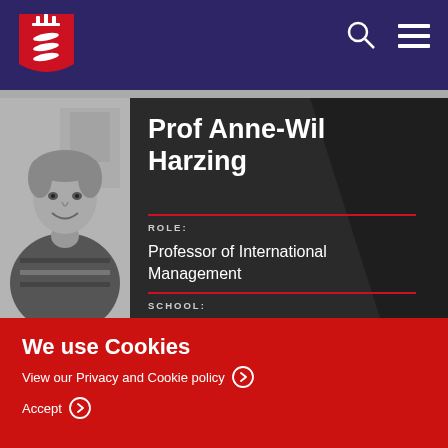[Figure (logo): University of Essex red shield logo with three white fish/eagles]
[Figure (photo): Black and white photo of Prof Anne-Wil Harzing smiling]
Prof Anne-Wil Harzing
ROLE:
Professor of International Management
SCHOOL:
We use Cookies
View our Privacy and Cookie policy
Accept